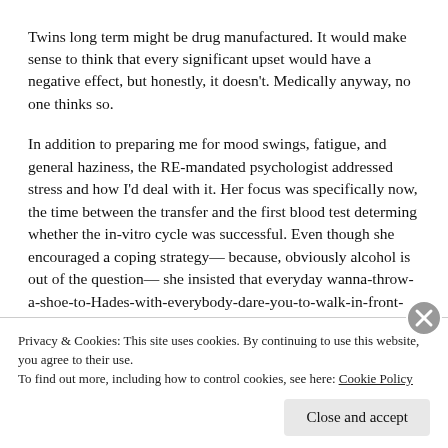Twins long term might be drug manufactured. It would make sense to think that every significant upset would have a negative effect, but honestly, it doesn't. Medically anyway, no one thinks so.
In addition to preparing me for mood swings, fatigue, and general haziness, the RE-mandated psychologist addressed stress and how I'd deal with it. Her focus was specifically now, the time between the transfer and the first blood test determing whether the in-vitro cycle was successful. Even though she encouraged a coping strategy— because, obviously alcohol is out of the question— she insisted that everyday wanna-throw-a-shoe-to-Hades-with-everybody-dare-you-to-walk-in-front-
Privacy & Cookies: This site uses cookies. By continuing to use this website, you agree to their use. To find out more, including how to control cookies, see here: Cookie Policy
Close and accept